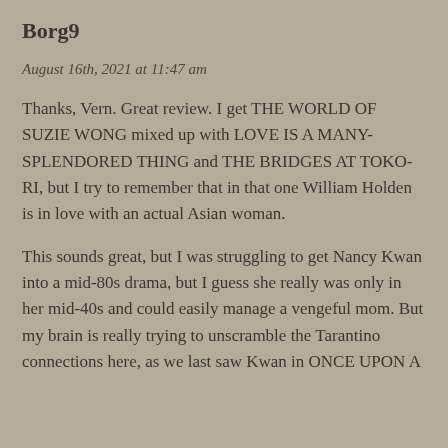Borg9
August 16th, 2021 at 11:47 am
Thanks, Vern. Great review. I get THE WORLD OF SUZIE WONG mixed up with LOVE IS A MANY-SPLENDORED THING and THE BRIDGES AT TOKO-RI, but I try to remember that in that one William Holden is in love with an actual Asian woman.
This sounds great, but I was struggling to get Nancy Kwan into a mid-80s drama, but I guess she really was only in her mid-40s and could easily manage a vengeful mom. But my brain is really trying to unscramble the Tarantino connections here, as we last saw Kwan in ONCE UPON A